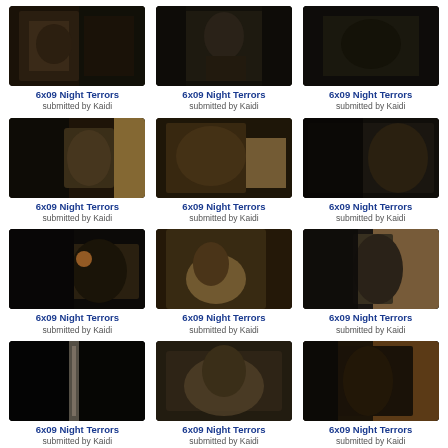[Figure (photo): Dark TV still from 6x09 Night Terrors, row 1 col 1]
6x09 Night Terrors
submitted by Kaidi
[Figure (photo): Dark TV still from 6x09 Night Terrors, row 1 col 2]
6x09 Night Terrors
submitted by Kaidi
[Figure (photo): Dark TV still from 6x09 Night Terrors, row 1 col 3]
6x09 Night Terrors
submitted by Kaidi
[Figure (photo): Dark TV still from 6x09 Night Terrors, row 2 col 1]
6x09 Night Terrors
submitted by Kaidi
[Figure (photo): Dark TV still from 6x09 Night Terrors, row 2 col 2]
6x09 Night Terrors
submitted by Kaidi
[Figure (photo): Dark TV still from 6x09 Night Terrors, row 2 col 3]
6x09 Night Terrors
submitted by Kaidi
[Figure (photo): Dark TV still from 6x09 Night Terrors, row 3 col 1]
6x09 Night Terrors
submitted by Kaidi
[Figure (photo): Dark TV still from 6x09 Night Terrors, row 3 col 2]
6x09 Night Terrors
submitted by Kaidi
[Figure (photo): Dark TV still from 6x09 Night Terrors, row 3 col 3]
6x09 Night Terrors
submitted by Kaidi
[Figure (photo): Dark TV still from 6x09 Night Terrors, row 4 col 1]
6x09 Night Terrors
submitted by Kaidi
[Figure (photo): Dark TV still from 6x09 Night Terrors, row 4 col 2]
6x09 Night Terrors
submitted by Kaidi
[Figure (photo): Dark TV still from 6x09 Night Terrors, row 4 col 3]
6x09 Night Terrors
submitted by Kaidi
[Figure (photo): Dark TV still from 6x09 Night Terrors, row 5 col 1]
[Figure (photo): Dark TV still from 6x09 Night Terrors, row 5 col 2]
[Figure (photo): Dark TV still from 6x09 Night Terrors, row 5 col 3]